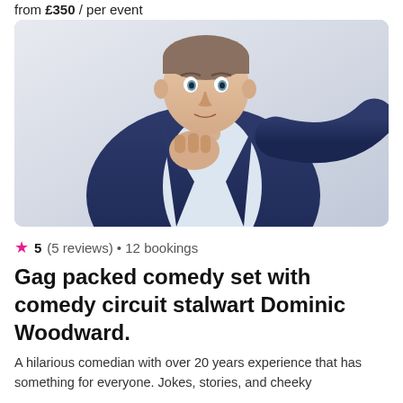from £350 / per event
[Figure (photo): Man in blue suit jacket and open white shirt, leaning forward with hand raised to chin in a thoughtful/comedic pose, photographed from above against a white/light grey background.]
★ 5 (5 reviews) • 12 bookings
Gag packed comedy set with comedy circuit stalwart Dominic Woodward.
A hilarious comedian with over 20 years experience that has something for everyone. Jokes, stories, and cheeky